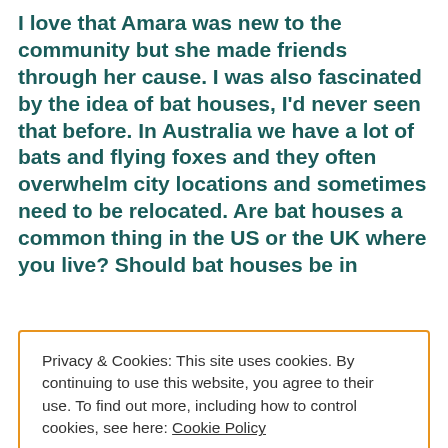I love that Amara was new to the community but she made friends through her cause. I was also fascinated by the idea of bat houses, I'd never seen that before. In Australia we have a lot of bats and flying foxes and they often overwhelm city locations and sometimes need to be relocated. Are bat houses a common thing in the US or the UK where you live? Should bat houses be in
Privacy & Cookies: This site uses cookies. By continuing to use this website, you agree to their use. To find out more, including how to control cookies, see here: Cookie Policy
Close and accept
garden or a house where you can install a bat